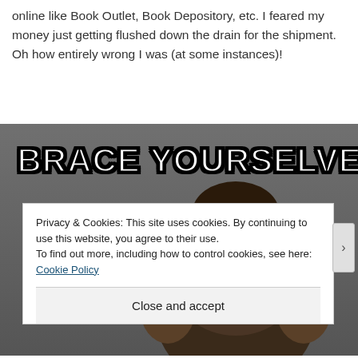online like Book Outlet, Book Depository, etc. I feared my money just getting flushed down the drain for the shipment. Oh how entirely wrong I was (at some instances)!
[Figure (illustration): Brace Yourselves meme image — man in fur cloak with bold white Impact text 'BRACE YOURSELVES' with black outline overlay on dark background]
Privacy & Cookies: This site uses cookies. By continuing to use this website, you agree to their use.
To find out more, including how to control cookies, see here: Cookie Policy
Close and accept